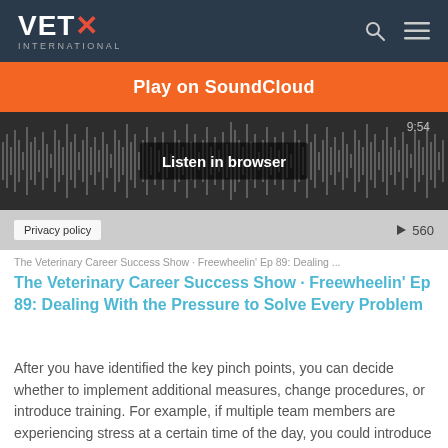VETX INTERNATIONAL
[Figure (screenshot): SoundCloud embedded audio player showing 'Play on SoundCloud' orange button, waveform, 'Listen in browser' overlay button, duration 9:54, play count 560, Privacy policy link]
The Veterinary Career Success Show · Freewheelin' Ep 89: Dealing ...
The Veterinary Career Success Show · Freewheelin' Ep 89: Dealing With the Pressure to Solve Every Problem
After you have identified the key pinch points, you can decide whether to implement additional measures, change procedures, or introduce training. For example, if multiple team members are experiencing stress at a certain time of the day, you could introduce a one hour 'firebreak' where they can complete administrative tasks, and re-charge before